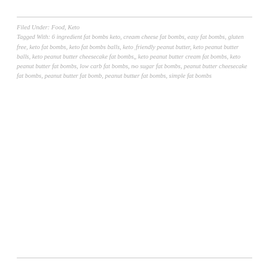Filed Under: Food, Keto
Tagged With: 6 ingredient fat bombs keto, cream cheese fat bombs, easy fat bombs, gluten free, keto fat bombs, keto fat bombs balls, keto friendly peanut butter, keto peanut butter balls, keto peanut butter cheesecake fat bombs, keto peanut butter cream fat bombs, keto peanut butter fat bombs, low carb fat bombs, no sugar fat bombs, peanut butter cheesecake fat bombs, peanut butter fat bomb, peanut butter fat bombs, simple fat bombs